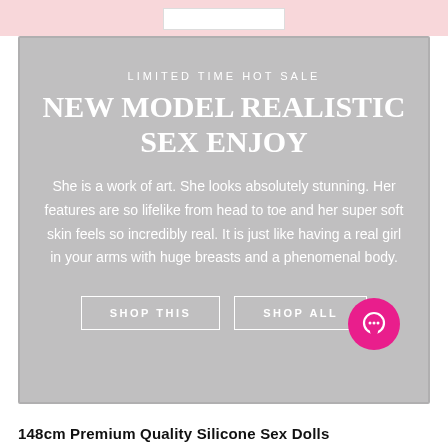LIMITED TIME HOT SALE
NEW MODEL REALISTIC SEX ENJOY
She is a work of art. She looks absolutely stunning. Her features are so lifelike from head to toe and her super soft skin feels so incredibly real. It is just like having a real girl in your arms with huge breasts and a phenomenal body.
SHOP THIS
SHOP ALL
148cm Premium Quality Silicone Sex Dolls